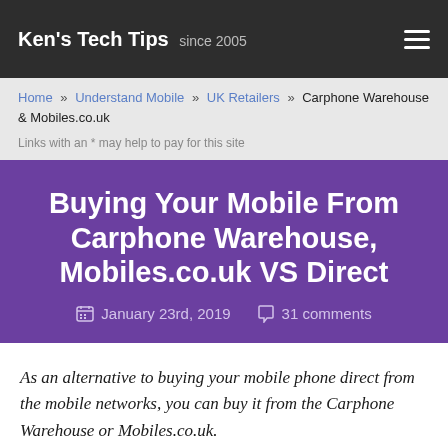Ken's Tech Tips since 2005
Home » Understand Mobile » UK Retailers » Carphone Warehouse & Mobiles.co.uk
Links with an * may help to pay for this site
Buying Your Mobile From Carphone Warehouse, Mobiles.co.uk VS Direct
January 23rd, 2019   31 comments
As an alternative to buying your mobile phone direct from the mobile networks, you can buy it from the Carphone Warehouse or Mobiles.co.uk.
[Figure (photo): Partial view of Carphone Warehouse logo on dark navy background]